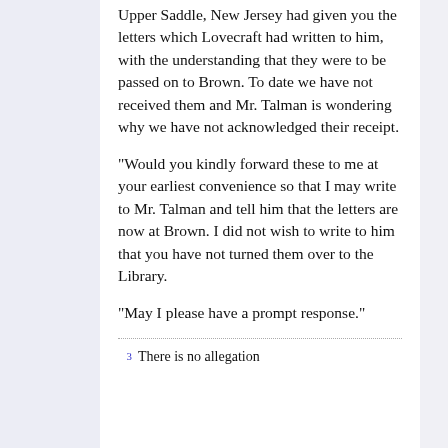Upper Saddle, New Jersey had given you the letters which Lovecraft had written to him, with the understanding that they were to be passed on to Brown. To date we have not received them and Mr. Talman is wondering why we have not acknowledged their receipt.
"Would you kindly forward these to me at your earliest convenience so that I may write to Mr. Talman and tell him that the letters are now at Brown. I did not wish to write to him that you have not turned them over to the Library.
"May I please have a prompt response."
3  There is no allegation